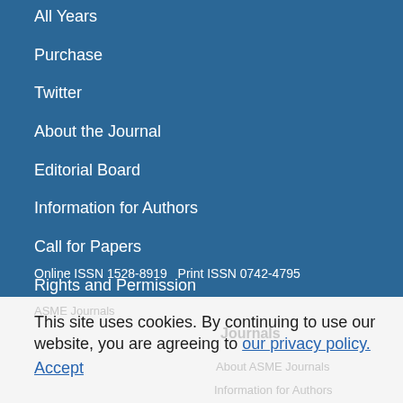All Years
Purchase
Twitter
About the Journal
Editorial Board
Information for Authors
Call for Papers
Rights and Permission
Online ISSN 1528-8919   Print ISSN 0742-4795
This site uses cookies. By continuing to use our website, you are agreeing to our privacy policy. Accept